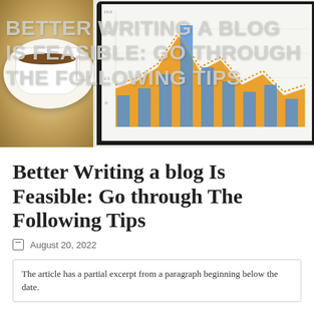[Figure (photo): Hero banner image showing a coffee cup on the left and a bar/line chart on a tablet on the right, with large bold overlaid text reading BETTER WRITING A BLOG IS FEASIBLE: GO THROUGH THE FOLLOWING TIPS]
Better Writing a blog Is Feasible: Go through The Following Tips
August 20, 2022
The article has a partial excerpt from a paragraph beginning below the date.